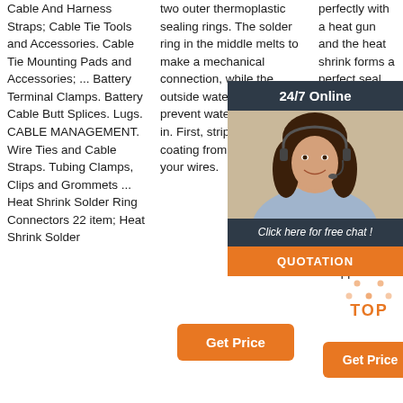Cable And Harness Straps; Cable Tie Tools and Accessories. Cable Tie Mounting Pads and Accessories; ... Battery Terminal Clamps. Battery Cable Butt Splices. Lugs. CABLE MANAGEMENT. Wire Ties and Cable Straps. Tubing Clamps, Clips and Grommets ... Heat Shrink Solder Ring Connectors 22 item; Heat Shrink Solder
two outer thermoplastic sealing rings. The solder ring in the middle melts to make a mechanical connection, while the outside waterproof rings prevent water from coming in. First, strip the insulating coating from the ends of your wires.
perfectly with a heat gun and the heat shrink forms a perfect seal around the cable. These new go electric now. T lot of ti the cab messin trying t heat sh the wa melting Give them a go, you won't be disappointed.
[Figure (photo): Customer service representative with headset, 24/7 Online chat widget overlay with dark background, orange QUOTATION button]
[Figure (other): TOP button with orange dot triangle icon and orange TOP text]
Get Price (column 2 button)
Get Price (column 3 button)